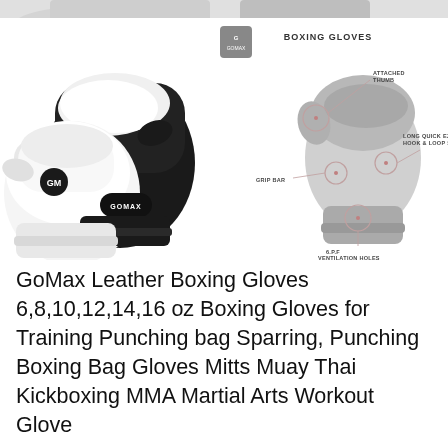[Figure (photo): Product image showing GoMax white and black leather boxing gloves on the left, and an annotated diagram of boxing gloves on the right with labels: BOXING GLOVES, ATTACHED THUMB, LONG QUICK EZ HOOK & LOOP STRAP, GRIP BAR, 6.P.F VENTILATION HOLES. GoMax logo visible.]
GoMax Leather Boxing Gloves 6,8,10,12,14,16 oz Boxing Gloves for Training Punching bag Sparring, Punching Boxing Bag Gloves Mitts Muay Thai Kickboxing MMA Martial Arts Workout Glove